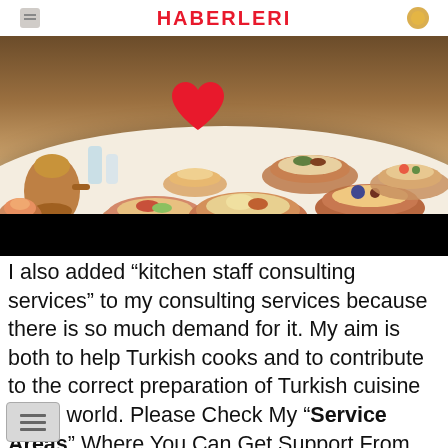HABERLERI
[Figure (photo): A round dining table covered with various Turkish dishes in copper and ceramic serving plates, including stuffed vegetables, mezes, bread, salads, and desserts. Copper teapots and glassware are visible on the left side. The image has a black bar overlay at the bottom.]
I also added “kitchen staff consulting services” to my consulting services because there is so much demand for it. My aim is both to help Turkish cooks and to contribute to the correct preparation of Turkish cuisine in the world. Please Check My “Service Areas” Where You Can Get Support From Me...